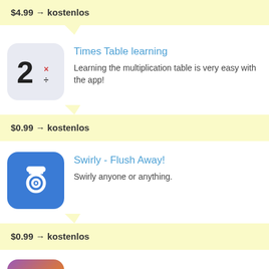$4.99 → kostenlos
[Figure (illustration): App icon for Times Table learning: rounded square with light gray/blue background showing '2' with multiplication and division symbols]
Times Table learning
Learning the multiplication table is very easy with the app!
$0.99 → kostenlos
[Figure (illustration): App icon for Swirly - Flush Away!: blue rounded square with white toilet/swirl icon]
Swirly - Flush Away!
Swirly anyone or anything.
$0.99 → kostenlos